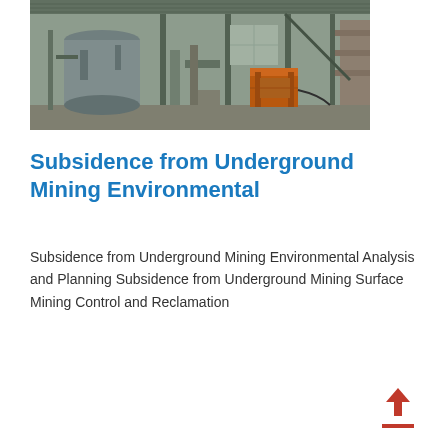[Figure (photo): Industrial mining facility interior showing large tanks, steel columns, piping infrastructure, and an orange piece of equipment in the background under a corrugated metal roof.]
Subsidence from Underground Mining Environmental
Subsidence from Underground Mining Environmental Analysis and Planning Subsidence from Underground Mining Surface Mining Control and Reclamation
[Figure (illustration): Red upward-pointing arrow with a horizontal red underline — an upload icon.]